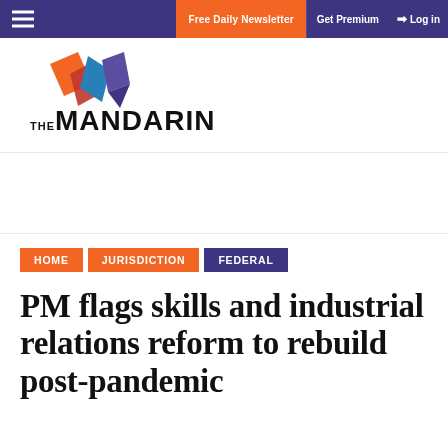Free Daily Newsletter  Get Premium  Log in
[Figure (logo): The Mandarin logo — geometric orange, red, blue and purple diamond shapes above the text THE MANDARIN in bold sans-serif]
HOME
JURISDICTION
FEDERAL
PM flags skills and industrial relations reform to rebuild post-pandemic